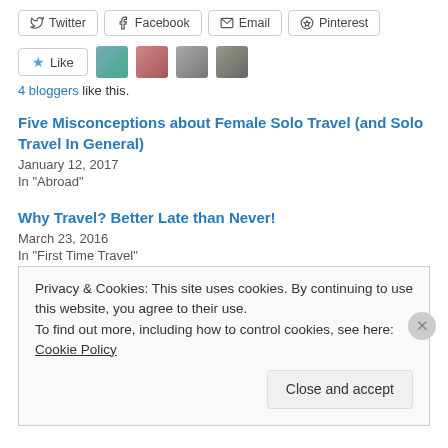[Figure (screenshot): Social share buttons: Twitter, Facebook, Email, Pinterest]
[Figure (screenshot): Like button with 4 blogger avatars]
4 bloggers like this.
Five Misconceptions about Female Solo Travel (and Solo Travel In General)
January 12, 2017
In "Abroad"
Why Travel? Better Late than Never!
March 23, 2016
In "First Time Travel"
Privacy & Cookies: This site uses cookies. By continuing to use this website, you agree to their use.
To find out more, including how to control cookies, see here: Cookie Policy